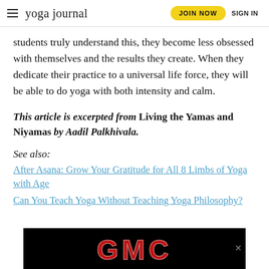yoga journal | JOIN NOW | SIGN IN
students truly understand this, they become less obsessed with themselves and the results they create. When they dedicate their practice to a universal life force, they will be able to do yoga with both intensity and calm.
This article is excerpted from Living the Yamas and Niyamas by Aadil Palkhivala.
See also:
After Asana: Grow Your Gratitude for All 8 Limbs of Yoga with Age
Can You Teach Yoga Without Teaching Yoga Philosophy?
[Figure (logo): GMC advertisement banner with red metallic GMC letters on black background]